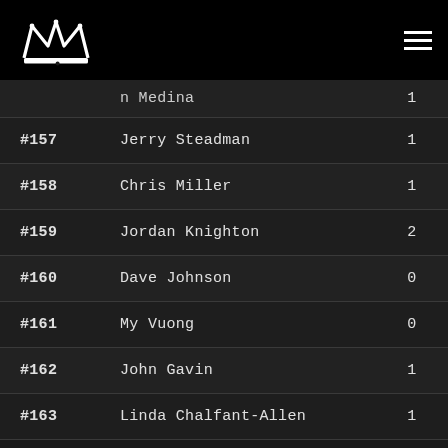Logo and navigation header
| Rank | Name | W | L |
| --- | --- | --- | --- |
|  | n Medina | 1 | 4 |
| #157 | Jerry Steadman | 1 | 3 |
| #158 | Chris Miller | 1 | 3 |
| #159 | Jordan Knighton | 2 | 2 |
| #160 | Dave Johnson | 0 | 4 |
| #161 | My Vuong | 0 | 4 |
| #162 | John Gavin | 1 | 3 |
| #163 | Linda Chalfant-Allen | 1 | 3 |